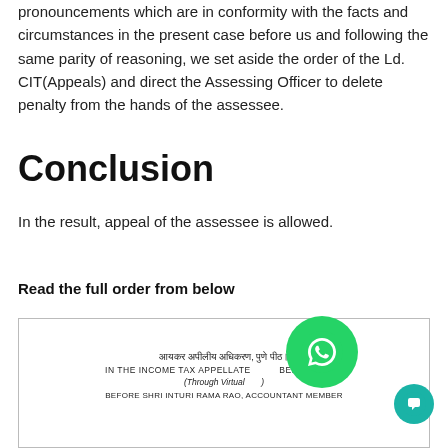pronouncements which are in conformity with the facts and circumstances in the present case before us and following the same parity of reasoning, we set aside the order of the Ld. CIT(Appeals) and direct the Assessing Officer to delete penalty from the hands of the assessee.
Conclusion
In the result, appeal of the assessee is allowed.
Read the full order from below
[Figure (other): Document image showing Income Tax Appellate Tribunal bench details in Hindi and English, partially obscured by a WhatsApp icon overlay. Text reads: आयकर अपीलीय अधिकरण, पुणे पीठ। IN THE INCOME TAX APPELLATE TRIBUNAL BENCH, PUNE (Through Virtual ...) BEFORE SHRI INTURI RAMA RAO, ACCOUNTANT MEMBER]